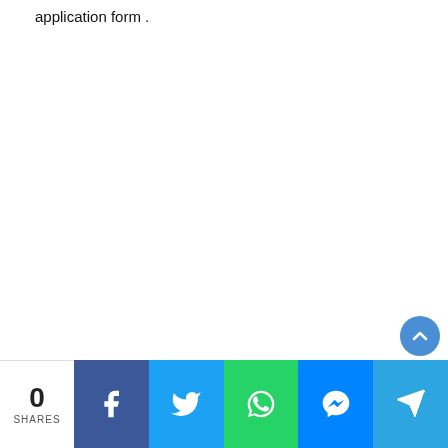application form .
[Figure (other): Social sharing bar with share count (0 SHARES) and buttons for Facebook, Twitter, WhatsApp, Messenger, and Telegram]